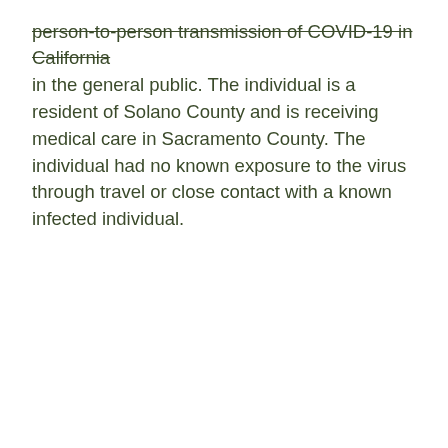person-to-person transmission of COVID-19 in California in the general public. The individual is a resident of Solano County and is receiving medical care in Sacramento County. The individual had no known exposure to the virus through travel or close contact with a known infected individual.